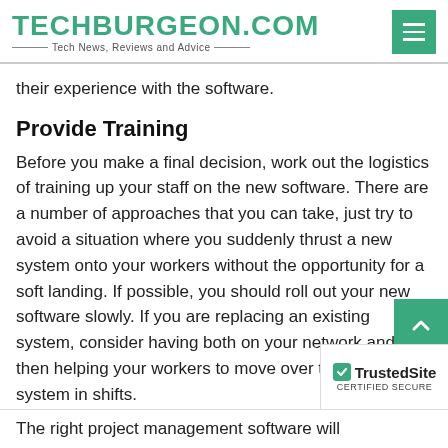TECHBURGEON.COM — Tech News, Reviews and Advice
their experience with the software.
Provide Training
Before you make a final decision, work out the logistics of training up your staff on the new software. There are a number of approaches that you can take, just try to avoid a situation where you suddenly thrust a new system onto your workers without the opportunity for a soft landing. If possible, you should roll out your new software slowly. If you are replacing an existing system, consider having both on your network and then helping your workers to move over to the new system in shifts.
The right project management software will